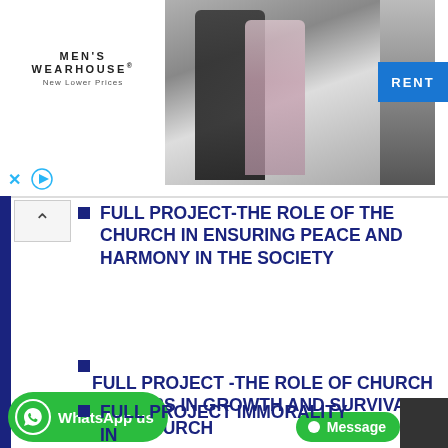[Figure (photo): Men's Wearhouse advertisement banner showing a couple in formal wear, a man in a suit solo, and a blue RENT button. Brand logo reads MEN'S WEARHOUSE with New Lower Prices tagline.]
FULL PROJECT-THE ROLE OF THE CHURCH IN ENSURING PEACE AND HARMONY IN THE SOCIETY
FULL PROJECT -THE ROLE OF CHURCH LEADERS IN GROWTH AND SURVIVAL OF A CHURCH
FULL PROJECT IMMORALITY IN